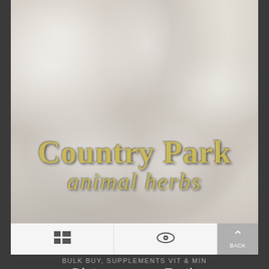[Figure (photo): Close-up photograph of white diatomaceous earth powder with fine, fluffy texture. Country Park animal herbs logo overlaid in gold/olive text at the bottom of the image.]
BULK BUY, SUPPLEMENTS VIT & MIN
Diatomaceous Earth